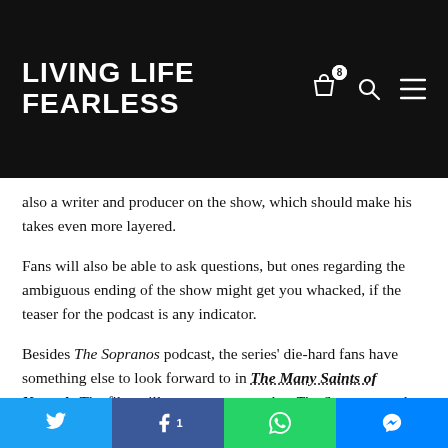LIVING LIFE FEARLESS
also a writer and producer on the show, which should make his takes even more layered.
Fans will also be able to ask questions, but ones regarding the ambiguous ending of the show might get you whacked, if the teaser for the podcast is any indicator.
Besides The Sopranos podcast, the series' die-hard fans have something else to look forward to in The Many Saints of Newark. The film will serve as a prequel to The Sopranos and will star none other than James Gandolfini's real-life son, Michael Gandolfini, as young Tony Soprano, which is clearly an exciting prospect on many different levels. The movie is
Twitter | Facebook 1 | WhatsApp | Messenger